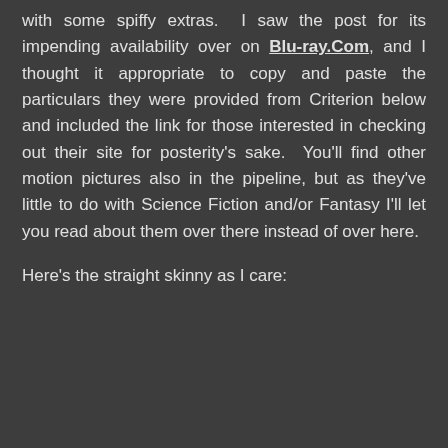with some spiffy extras. I saw the post for its impending availability over on Blu-ray.Com, and I thought it appropriate to copy and paste the particulars they were provided from Criterion below and included the link for those interested in checking out their site for posterity's sake. You'll find other motion pictures also in the pipeline, but as they've little to do with Science Fiction and/or Fantasy I'll let you read about them over there instead of over here.
Here's the straight skinny as I care: